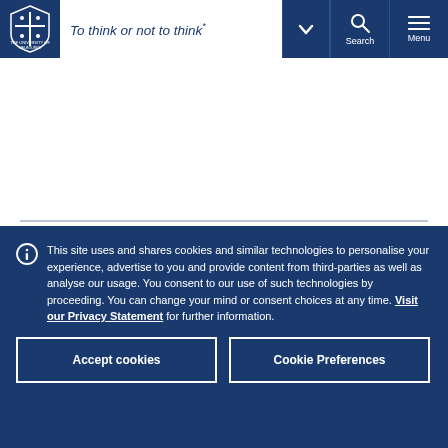To think or not to think - University of Melbourne navigation bar
This site uses and shares cookies and similar technologies to personalise your experience, advertise to you and provide content from third-parties as well as analyse our usage. You consent to our use of such technologies by proceeding. You can change your mind or consent choices at any time. Visit our Privacy Statement for further information.
Accept cookies
Cookie Preferences